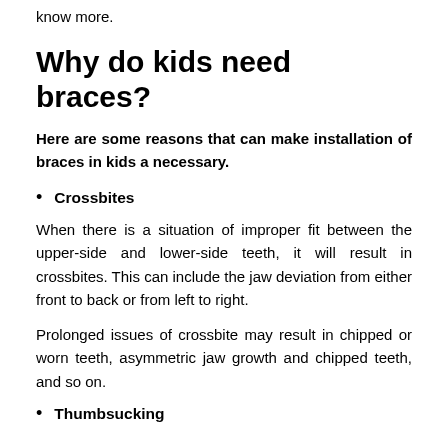know more.
Why do kids need braces?
Here are some reasons that can make installation of braces in kids a necessary.
Crossbites
When there is a situation of improper fit between the upper-side and lower-side teeth, it will result in crossbites. This can include the jaw deviation from either front to back or from left to right.
Prolonged issues of crossbite may result in chipped or worn teeth, asymmetric jaw growth and chipped teeth, and so on.
Thumbsucking